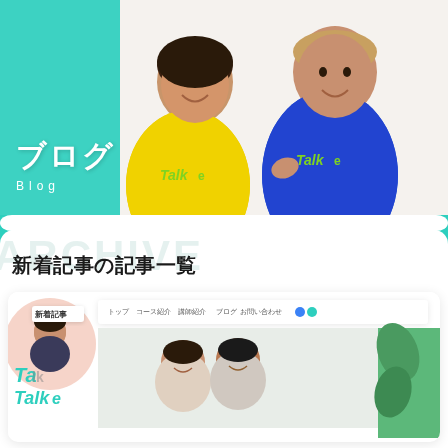[Figure (photo): Hero banner showing two people wearing Talk-e branded sweatshirts (one in yellow, one in blue) smiling, with teal background and blog title overlay]
ブログ Blog
新着記事の記事一覧
[Figure (screenshot): Screenshot of Talk-e website showing article listing page with 新着記事 badge, Talk-e logo, navigation bar with トップ, コース紹介, 講師紹介, ブログ, お問い合わせ links, and a photo of two people]